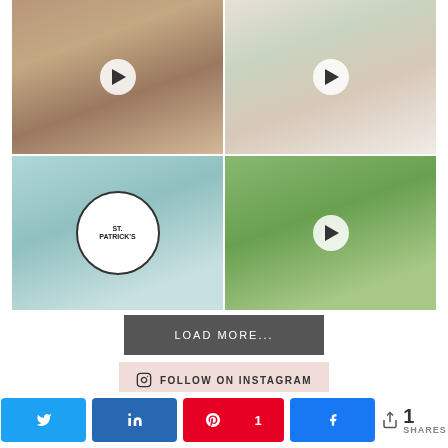[Figure (photo): 2x2 Instagram photo grid with four thumbnail images: top-left woman wearing cap, top-right colorful butterfly cake, bottom-left St. Patrick's day label bag, bottom-right food/snack charcuterie board]
LOAD MORE...
FOLLOW ON INSTAGRAM
1 SHARES